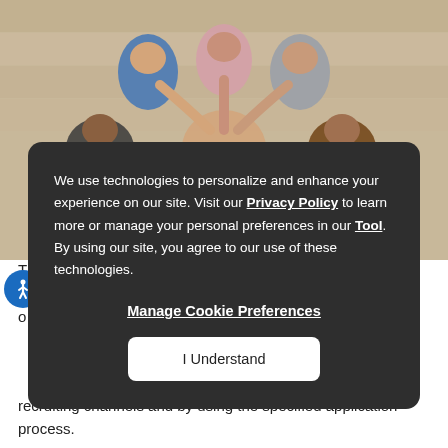[Figure (photo): Aerial view of a diverse group of people standing in a circle with their hands joined together in the center, viewed from above on a wooden floor background.]
T a o
[Figure (other): Blue accessibility icon circle with a wheelchair user silhouette in white.]
We use technologies to personalize and enhance your experience on our site. Visit our Privacy Policy to learn more or manage your personal preferences in our Tool. By using our site, you agree to our use of these technologies.

Manage Cookie Preferences

I Understand
recruiting channels and by using the specified application process.